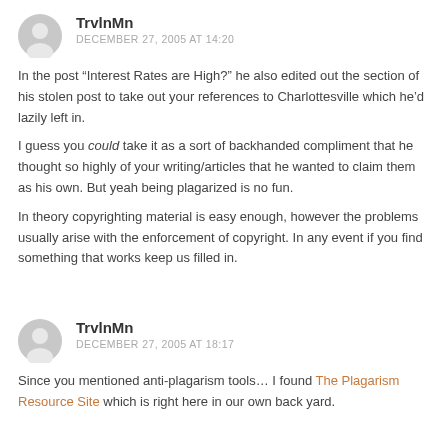[Figure (illustration): Gray avatar icon for user TrvlnMn]
TrvlnMn
DECEMBER 27, 2005 AT 14:20
In the post “Interest Rates are High?” he also edited out the section of his stolen post to take out your references to Charlottesville which he’d lazily left in.
I guess you could take it as a sort of backhanded compliment that he thought so highly of your writing/articles that he wanted to claim them as his own. But yeah being plagarized is no fun.
In theory copyrighting material is easy enough, however the problems usually arise with the enforcement of copyright. In any event if you find something that works keep us filled in.
[Figure (illustration): Gray avatar icon for user TrvlnMn]
TrvlnMn
DECEMBER 27, 2005 AT 18:17
Since you mentioned anti-plagarism tools… I found The Plagarism Resource Site which is right here in our own back yard.